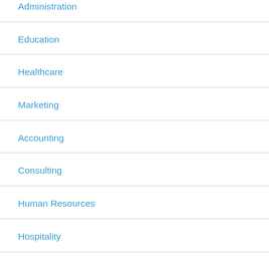Administration
Education
Healthcare
Marketing
Accounting
Consulting
Human Resources
Hospitality